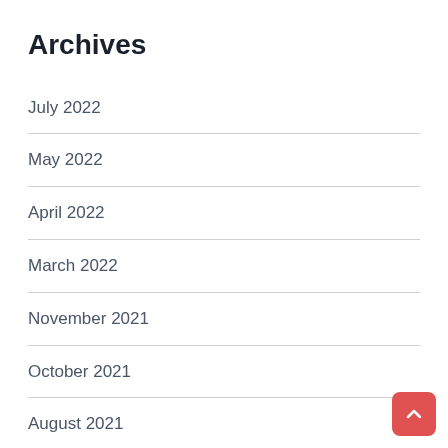Archives
July 2022
May 2022
April 2022
March 2022
November 2021
October 2021
August 2021
June 2021
May 2021